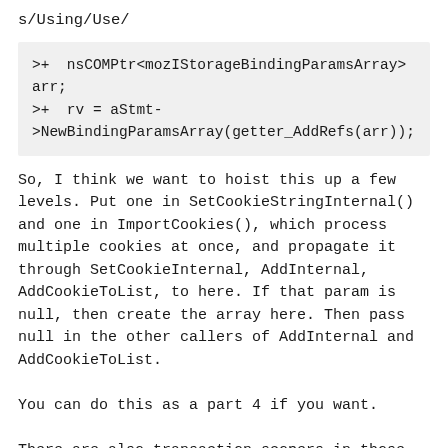s/Using/Use/
>+  nsCOMPtr<mozIStorageBindingParamsArray> arr;
>+  rv = aStmt->NewBindingParamsArray(getter_AddRefs(arr));
So, I think we want to hoist this up a few levels. Put one in SetCookieStringInternal() and one in ImportCookies(), which process multiple cookies at once, and propagate it through SetCookieInternal, AddInternal, AddCookieToList, to here. If that param is null, then create the array here. Then pass null in the other callers of AddInternal and AddCookieToList.
You can do this as a part 4 if you want.
There are also transaction scopers in those